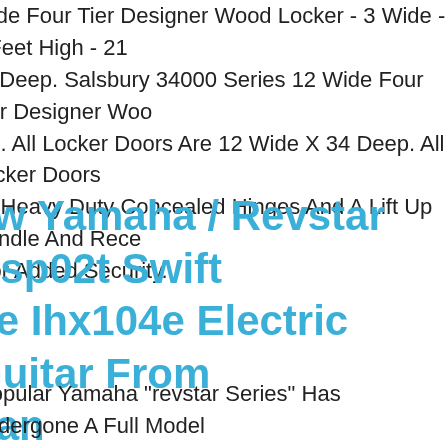Wide Four Tier Designer Wood Locker - 3 Wide - 6 Feet High - 21 es Deep. Salsbury 34000 Series 12 Wide Four Tier Designer Wood ers. All Locker Doors Are 12 Wide X 34 Deep. All Locker Doors de Heavy Duty Concealed Hinges And A Lift Up Handle And Rece  For Added Security.
ew Yamaha / Revstar Rsp02t Swift ue Ihx104e Electric Guitar From pan
Popular Yamaha "revstar Series" Has Undergone A Full Model ge And Reappears! The Characteristic Body Shape Of The "revst s" Inherits The Design Of The Conventional Model, And Is Mode  The Traditional Cool And Inorganic Image Of The Custom orcycle Style "cafe Racer" Born In London In The 1960s.
150 Lb Ice Machine 66 Lb Storage Bin Under Counter Blue Air B